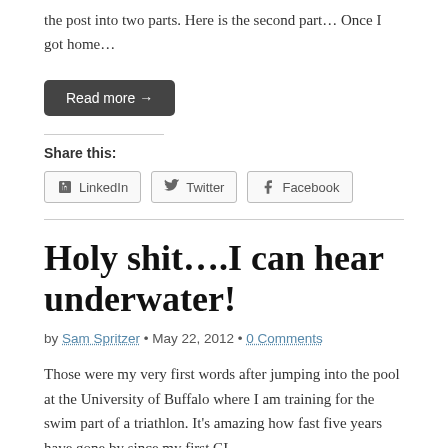the post into two parts.  Here is the second part… Once I got home…
Read more →
Share this:
LinkedIn  Twitter  Facebook
Holy shit….I can hear underwater!
by Sam Spritzer • May 22, 2012 • 0 Comments
Those were my very first words after jumping into the pool at the University of Buffalo where I am training for the swim part of a triathlon. It's amazing how fast five years have gone by since my first CI,…